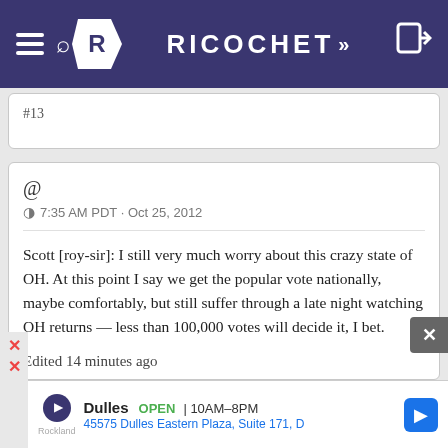RICOCHET
#13
@ 7:35 AM PDT · Oct 25, 2012
Scott [roy-sir]: I still very much worry about this crazy state of OH. At this point I say we get the popular vote nationally, maybe comfortably, but still suffer through a late night watching OH returns — less than 100,000 votes will decide it, I bet.

Edited 14 minutes ago
[Figure (screenshot): Ad banner for Dulles store showing OPEN 10AM-8PM, 45575 Dulles Eastern Plaza, Suite 171, D]